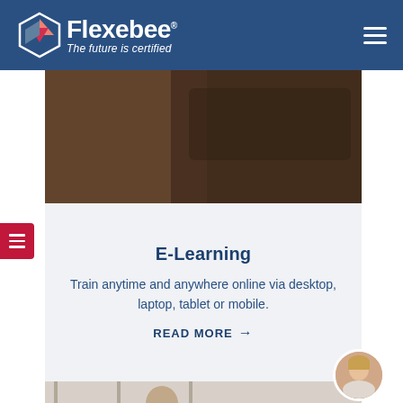[Figure (logo): Flexebee logo with hexagon icon, brand name and tagline 'The future is certified' on dark blue header bar]
[Figure (photo): Coming Soon text overlay on dark background photo showing laptop and hands]
E-Learning
Train anytime and anywhere online via desktop, laptop, tablet or mobile.
READ MORE →
[Figure (photo): Partial bottom photo showing a person, with circular avatar of a woman in the top-right corner]